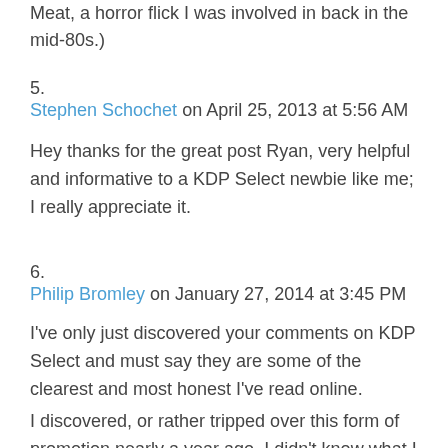Meat, a horror flick I was involved in back in the mid-80s.)
5.
Stephen Schochet on April 25, 2013 at 5:56 AM
Hey thanks for the great post Ryan, very helpful and informative to a KDP Select newbie like me; I really appreciate it.
6.
Philip Bromley on January 27, 2014 at 3:45 PM
I've only just discovered your comments on KDP Select and must say they are some of the clearest and most honest I've read online.
I discovered, or rather tripped over this form of promotion nearly a year ago. I didn't know what I was doing but